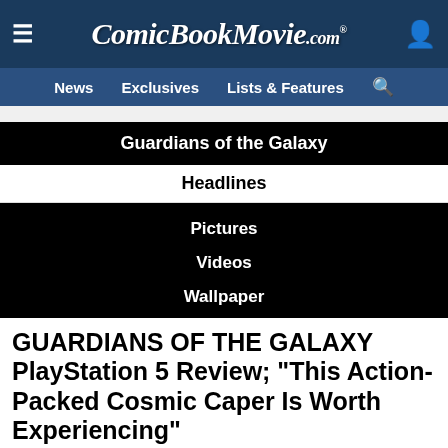ComicBookMovie.com
News  Exclusives  Lists & Features
Guardians of the Galaxy
Headlines
Pictures
Videos
Wallpaper
GUARDIANS OF THE GALAXY PlayStation 5 Review; "This Action-Packed Cosmic Caper Is Worth Experiencing"
[Figure (photo): Guardians of the Galaxy game promotional image showing characters with Marvel Guardians of the Galaxy logo on the right]